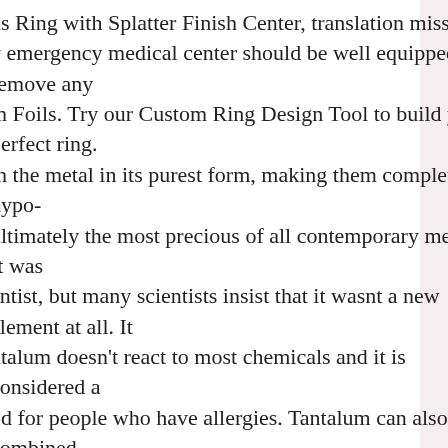ns Ring with Splatter Finish Center, translation missing: y emergency medical center should be well equipped to remove any m Foils. Try our Custom Ring Design Tool to build your perfect ring. th the metal in its purest form, making them completely hypo- ultimately the most precious of all contemporary metals. It was entist, but many scientists insist that it wasnt a new element at all. It ntalum doesn't react to most chemicals and it is considered a od for people who have allergies. Tantalum can also be combined bility or beautiful designs. This Tantalum ring features: - A Satin th - 1mm Off-center 14K Gold Inlay with a Polish Finish (Rose Gold hile it may be better known for its use in electronics, it's quickly l for men's rings. We are all about the memorable moments! FREE Shipping It has a rich slate bluish-gray color. Tantalum as tungsten or titanium but are less expensive than platinum. 14K rl Finish Center 8mm Ring. $960. Tantalum is very rare in the world, uring you will have a one of a kind symbol of your love. CANADA ts 2,866 Post Thanks / Like Likes (Given) 0 Likes (Received) 2528.